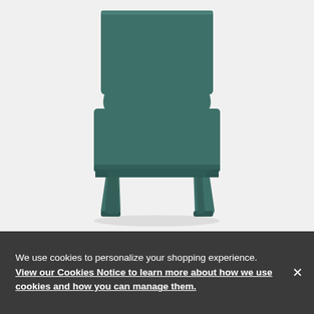[Figure (photo): A dark teal/green plastic chair photographed from slightly above and to the side, showing the back rest, seat, and four legs. The chair has a minimalist modern design with clean lines. White background.]
We use cookies to personalize your shopping experience. View our Cookies Notice to learn more about how we use cookies and how you can manage them.